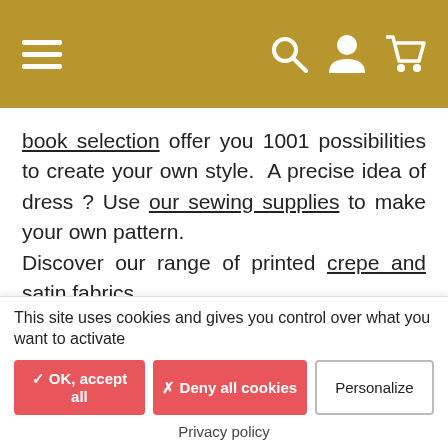[Navigation bar with hamburger menu, search, account, and cart icons]
book selection offer you 1001 possibilities to create your own style. A precise idea of dress ? Use our sewing supplies to make your own pattern.
Discover our range of printed crepe and satin fabrics.
30 OTHER PRODUCTS
[Figure (photo): Row of four fabric product thumbnail images: black/white pattern, beige/cream, dark floral, light floral on dark background]
This site uses cookies and gives you control over what you want to activate
✓ OK, accept all   ✗ Deny all cookies   Personalize
Privacy policy